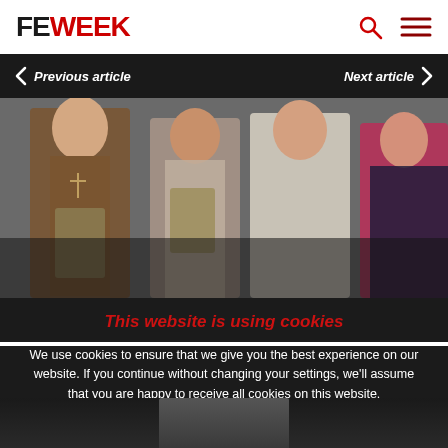FE WEEK
Previous article
Next article
[Figure (photo): Group of students holding folders/certificates, standing together]
This website is using cookies
We use cookies to ensure that we give you the best experience on our website. If you continue without changing your settings, we'll assume that you are happy to receive all cookies on this website.
Accept   Learn More